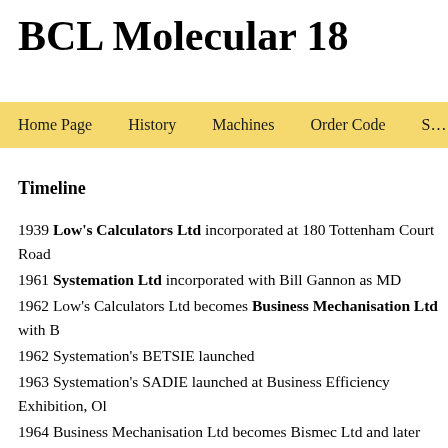BCL Molecular 18
Navigation bar: Home Page | History | Machines | Order Code | S...
Timeline
1939 Low's Calculators Ltd incorporated at 180 Tottenham Court Road
1961 Systemation Ltd incorporated with Bill Gannon as MD
1962 Low's Calculators Ltd becomes Business Mechanisation Ltd with B
1962 Systemation's BETSIE launched
1963 Systemation's SADIE launched at Business Efficiency Exhibition, Ol
1964 Business Mechanisation Ltd becomes Bismec Ltd and later Bismec C... and marketing deal between Systemation Ltd and Bismec Ltd
1969 Systemation and Business Mechanisation Ltd together incorporate Bu
1969 Business Computers Ltd in Public Share offering - 700,000 ordinary ... oversubscribed by 40%
1970 SUSIE launched